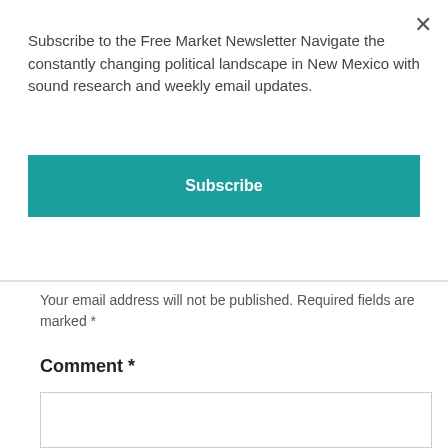×
Subscribe to the Free Market Newsletter Navigate the constantly changing political landscape in New Mexico with sound research and weekly email updates.
Subscribe
Your email address will not be published. Required fields are marked *
Comment *